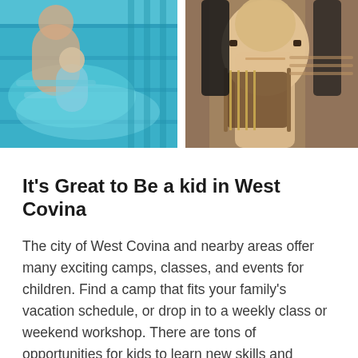[Figure (photo): An adult helping a young child swim in a pool with blue water and lane dividers.]
[Figure (photo): A young boy in a white shirt playing violin, focused on his performance.]
It's Great to Be a kid in West Covina
The city of West Covina and nearby areas offer many exciting camps, classes, and events for children. Find a camp that fits your family's vacation schedule, or drop in to a weekly class or weekend workshop. There are tons of opportunities for kids to learn new skills and discover their passions. STEM, art, sports, music, adventures and more - find and book it all